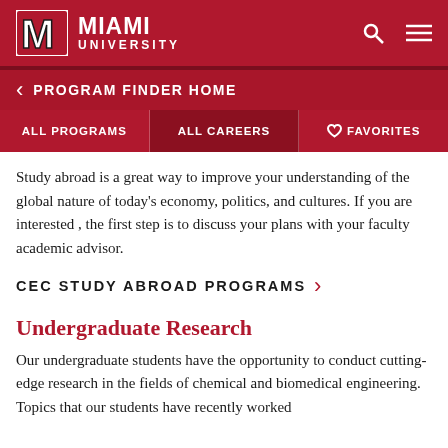[Figure (logo): Miami University logo with red M and white text MIAMI UNIVERSITY, with search and hamburger menu icons]
< PROGRAM FINDER HOME
ALL PROGRAMS   ALL CAREERS   ♡ FAVORITES
Study abroad is a great way to improve your understanding of the global nature of today's economy, politics, and cultures. If you are interested , the first step is to discuss your plans with your faculty academic advisor.
CEC STUDY ABROAD PROGRAMS >
Undergraduate Research
Our undergraduate students have the opportunity to conduct cutting-edge research in the fields of chemical and biomedical engineering. Topics that our students have recently worked